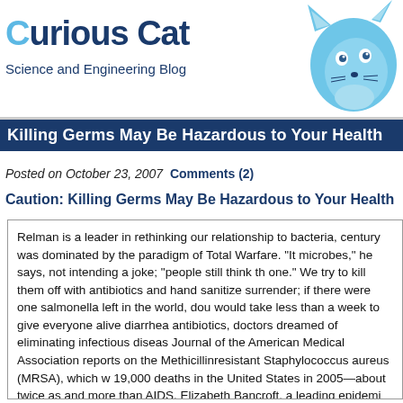[Figure (logo): Curious Cat Science and Engineering Blog logo with blue cat illustration and dark blue bold text]
Killing Germs May Be Hazardous to Your Health
Posted on October 23, 2007  Comments (2)
Caution: Killing Germs May Be Hazardous to Your Health
Relman is a leader in rethinking our relationship to bacteria, century was dominated by the paradigm of Total Warfare. "It microbes," he says, not intending a joke; "people still think th one." We try to kill them off with antibiotics and hand sanitize surrender; if there were one salmonella left in the world, dou would take less than a week to give everyone alive diarrhea antibiotics, doctors dreamed of eliminating infectious diseas Journal of the American Medical Association reports on the Methicillinresistant Staphylococcus aureus (MRSA), which w 19,000 deaths in the United States in 2005—about twice as and more than AIDS. Elizabeth Bancroft, a leading epidemi